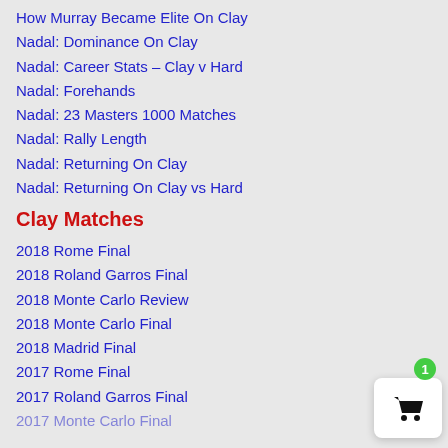How Murray Became Elite On Clay
Nadal: Dominance On Clay
Nadal: Career Stats – Clay v Hard
Nadal: Forehands
Nadal: 23 Masters 1000 Matches
Nadal: Rally Length
Nadal: Returning On Clay
Nadal: Returning On Clay vs Hard
Clay Matches
2018 Rome Final
2018 Roland Garros Final
2018 Monte Carlo Review
2018 Monte Carlo Final
2018 Madrid Final
2017 Rome Final
2017 Roland Garros Final
2017 Monte Carlo Final